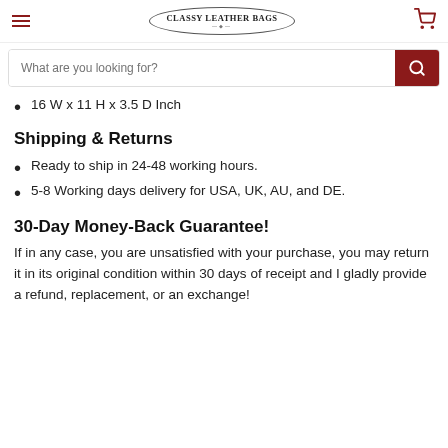CLASSY LEATHER BAGS
16 W x 11 H x 3.5 D Inch
Shipping & Returns
Ready to ship in 24-48 working hours.
5-8 Working days delivery for USA, UK, AU, and DE.
30-Day Money-Back Guarantee!
If in any case, you are unsatisfied with your purchase, you may return it in its original condition within 30 days of receipt and I gladly provide a refund, replacement, or an exchange!